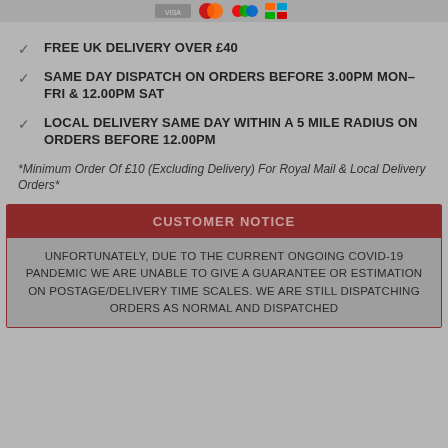[Figure (other): Payment method icons at top of page]
FREE UK DELIVERY OVER £40
SAME DAY DISPATCH ON ORDERS BEFORE 3.00PM MON-FRI & 12.00PM SAT
LOCAL DELIVERY SAME DAY WITHIN A 5 MILE RADIUS ON ORDERS BEFORE 12.00PM
*Minimum Order Of £10 (Excluding Delivery) For Royal Mail & Local Delivery Orders*
CUSTOMER NOTICE
UNFORTUNATELY, DUE TO THE CURRENT ONGOING COVID-19 PANDEMIC WE ARE UNABLE TO GIVE A GUARANTEE OR ESTIMATION ON POSTAGE/DELIVERY TIME SCALES. WE ARE STILL DISPATCHING ORDERS AS NORMAL AND DISPATCHED